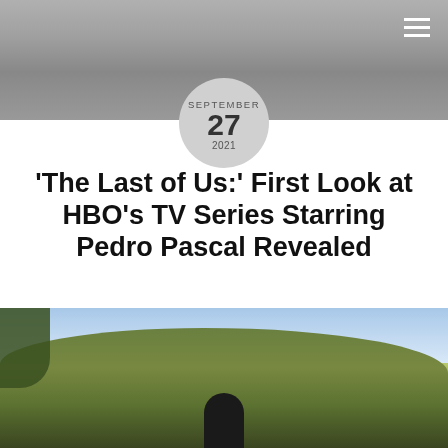[Figure (photo): Top banner image showing outdoor scene with people hiking, muted/grayed out. Hamburger menu icon in top right corner.]
SEPTEMBER 27 2021
'The Last of Us:' First Look at HBO's TV Series Starring Pedro Pascal Revealed
ADMIN // News, Pedro Pascal, The Last of Us // News, Pedro Pascal, The Last of Us //
[Figure (photo): Outdoor scene showing rolling green hills, blue sky with clouds, a figure in the foreground, and what appears to be a crashed aircraft on the hilltop in the background. Tree visible on the left edge.]